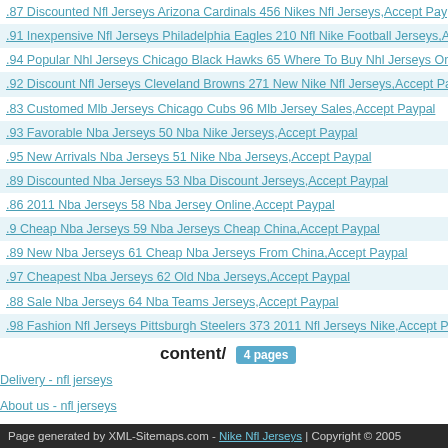.87 Discounted Nfl Jerseys Arizona Cardinals 456 Nikes Nfl Jerseys,Accept Paypal
.91 Inexpensive Nfl Jerseys Philadelphia Eagles 210 Nfl Nike Football Jerseys,Accept Paypal
.94 Popular Nhl Jerseys Chicago Black Hawks 65 Where To Buy Nhl Jerseys Online,Accept
.92 Discount Nfl Jerseys Cleveland Browns 271 New Nike Nfl Jerseys,Accept Paypal
.83 Customed Mlb Jerseys Chicago Cubs 96 Mlb Jersey Sales,Accept Paypal
.93 Favorable Nba Jerseys 50 Nba Nike Jerseys,Accept Paypal
.95 New Arrivals Nba Jerseys 51 Nike Nba Jerseys,Accept Paypal
.89 Discounted Nba Jerseys 53 Nba Discount Jerseys,Accept Paypal
.86 2011 Nba Jerseys 58 Nba Jersey Online,Accept Paypal
.9 Cheap Nba Jerseys 59 Nba Jerseys Cheap China,Accept Paypal
.89 New Nba Jerseys 61 Cheap Nba Jerseys From China,Accept Paypal
.97 Cheapest Nba Jerseys 62 Old Nba Jerseys,Accept Paypal
.88 Sale Nba Jerseys 64 Nba Teams Jerseys,Accept Paypal
.98 Fashion Nfl Jerseys Pittsburgh Steelers 373 2011 Nfl Jerseys Nike,Accept Paypal
content/ 4 pages
Delivery - nfl jerseys
About us - nfl jerseys
Legal Notice - nfl jerseys
Terms and conditions of use - nfl jerseys
Page generated by XML-Sitemaps.com - Nike Nfl Jerseys | Copyright © 2005